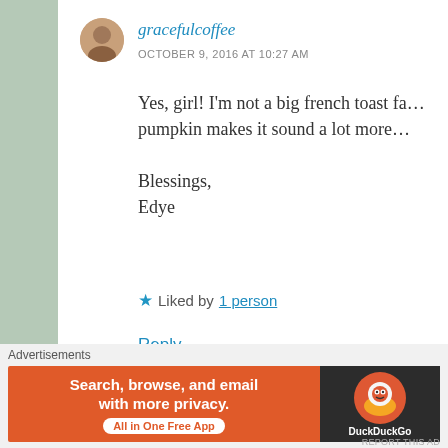gracefulcoffee
OCTOBER 9, 2016 AT 10:27 AM
Yes, girl! I'm not a big french toast fa… pumpkin makes it sound a lot more…
Blessings,
Edye
★ Liked by 1 person
Reply
Siffat Haider
Advertisements
[Figure (screenshot): DuckDuckGo advertisement banner: orange background with text 'Search, browse, and email with more privacy. All in One Free App' and DuckDuckGo logo on dark right section.]